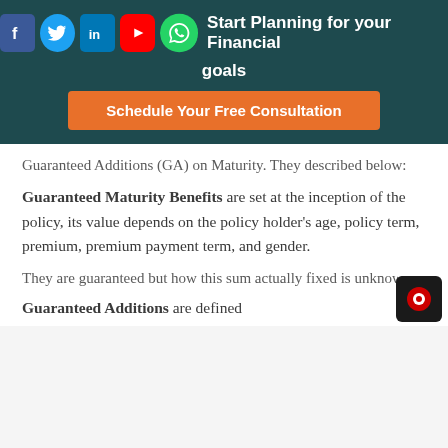Start Planning for your Financial goals
Schedule Your Free Consultation
Guaranteed Additions (GA) on Maturity. They described below:
Guaranteed Maturity Benefits are set at the inception of the policy, its value depends on the policy holder’s age, policy term, premium, premium payment term, and gender.
They are guaranteed but how this sum actually fixed is unknown.
Guaranteed Additions are defined